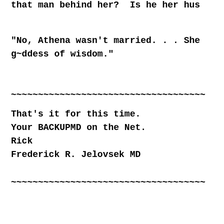that man behind her?  Is he her hus
"No, Athena wasn't married. . . She
g~ddess of wisdom."
~~~~~~~~~~~~~~~~~~~~~~~~~~~~~~~~~~~~
That's it for this time.
Your BACKUPMD on the Net.
Rick
Frederick R. Jelovsek MD
~~~~~~~~~~~~~~~~~~~~~~~~~~~~~~~~~~~~